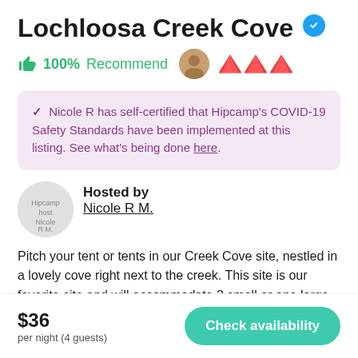Lochloosa Creek Cove
👍 100% Recommend
✓ Nicole R has self-certified that Hipcamp's COVID-19 Safety Standards have been implemented at this listing. See what's being done here.
Hosted by Nicole R M.
Pitch your tent or tents in our Creek Cove site, nestled in a lovely cove right next to the creek. This site is our favorite site and will accommodate 2 small or one large tent and 4-6
$36 per night (4 guests)
Check availability